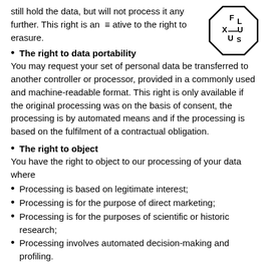still hold the data, but will not process it any further. This right is an alternative to the right to erasure.
[Figure (logo): FLUXUS logo inside an octagon shape with letters F, L, X, U, U, S arranged]
The right to data portability
You may request your set of personal data be transferred to another controller or processor, provided in a commonly used and machine-readable format. This right is only available if the original processing was on the basis of consent, the processing is by automated means and if the processing is based on the fulfilment of a contractual obligation.
The right to object
You have the right to object to our processing of your data where
Processing is based on legitimate interest;
Processing is for the purpose of direct marketing;
Processing is for the purposes of scientific or historic research;
Processing involves automated decision-making and profiling.